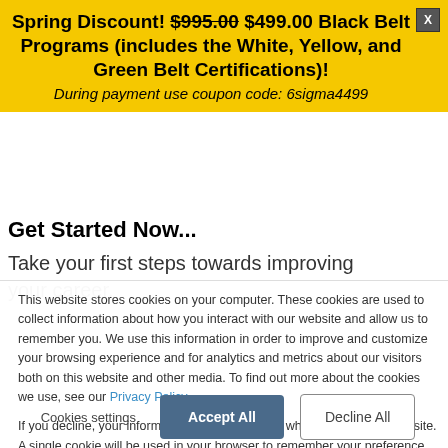Spring Discount! $995.00 $499.00 Black Belt Programs (includes the White, Yellow, and Green Belt Certifications)!
During payment use coupon code: 6sigma4499
Get Started Now...
Take your first steps towards improving your career.
This website stores cookies on your computer. These cookies are used to collect information about how you interact with our website and allow us to remember you. We use this information in order to improve and customize your browsing experience and for analytics and metrics about our visitors both on this website and other media. To find out more about the cookies we use, see our Privacy Policy
If you decline, your information won't be tracked when you visit this website. A single cookie will be used in your browser to remember your preference not to be tracked.
Cookies settings
Accept All
Decline All